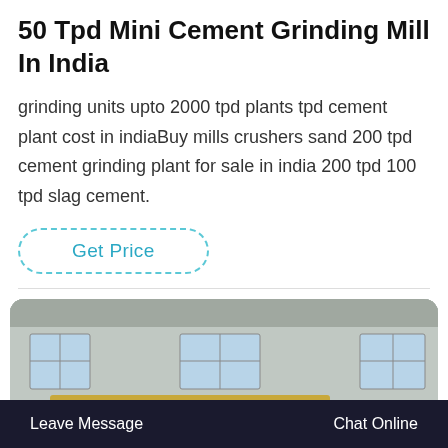50 Tpd Mini Cement Grinding Mill In India
grinding units upto 2000 tpd plants tpd cement plant cost in indiaBuy mills crushers sand 200 tpd cement grinding plant for sale in india 200 tpd 100 tpd slag cement.
Get Price
[Figure (photo): Industrial cement grinding mill machinery inside a factory warehouse. Shows a large green conveyor/roller mill with golden/yellow pipes stacked on top. Industrial building interior with windows visible in background. Customer service avatar overlaid at the bottom center.]
Leave Message   Chat Online